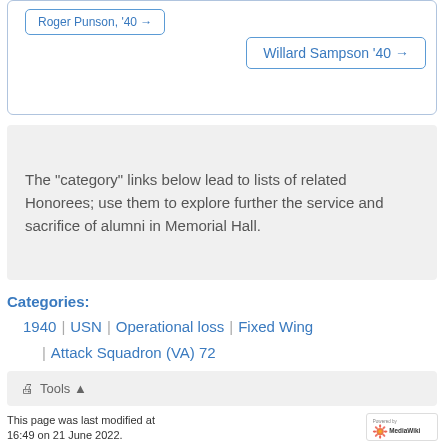[Figure (other): Navigation box with links: truncated link on top-left and 'Willard Sampson '40 →' link on right]
The "category" links below lead to lists of related Honorees; use them to explore further the service and sacrifice of alumni in Memorial Hall.
Categories:
1940 | USN | Operational loss | Fixed Wing | Attack Squadron (VA) 72
Tools ▲
This page was last modified at 16:49 on 21 June 2022.
About USNA Virtual Memorial Hall